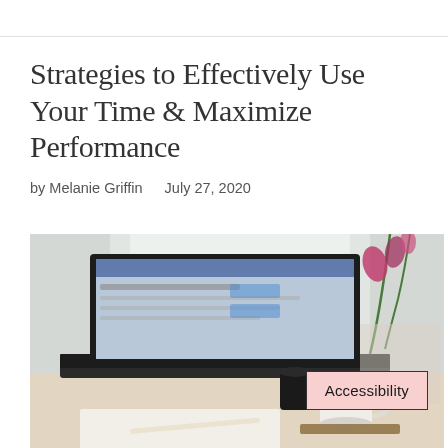Strategies to Effectively Use Your Time & Maximize Performance
by Melanie Griffin   July 27, 2020
[Figure (photo): A laptop on a desk displaying a webpage, with a coffee cup, small black jar, and a pink flower arrangement in the background near a bright window. An 'Accessibility' label badge overlays the bottom-right of the image.]